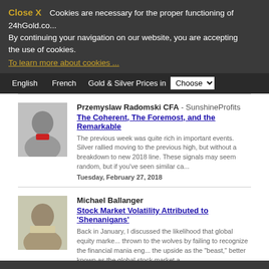Close X  Cookies are necessary for the proper functioning of 24hGold.co... By continuing your navigation on our website, you are accepting the use of cookies. To learn more about cookies ...
English  French  Gold & Silver Prices in  Choose
Przemyslaw Radomski CFA - SunshineProfits
The Coherent, The Foremost, and the Remarkable
The previous week was quite rich in important events. Silver rallied moving to the previous high, but without a breakdown to new 2018 line. These signals may seem random, but if you've seen similar ca...
Tuesday, February 27, 2018
Michael Ballanger
Stock Market Volatility Attributed to 'Shenanigans'
Back in January, I discussed the likelihood that global equity marke... thrown to the wolves by failing to recognize the financial mania eng... the upside as the "beast," better known as the global stock market a...
Friday, February 23, 2018
1 2